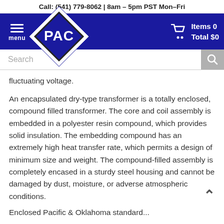Call: (541) 779-8062 | 8am - 5pm PST Mon-Fri
[Figure (logo): PAC logo: white diamond shape with PAC text inside on dark blue navigation bar, with menu hamburger icon and shopping cart showing Items 0 Total $0]
fluctuating voltage.
An encapsulated dry-type transformer is a totally enclosed, compound filled transformer. The core and coil assembly is embedded in a polyester resin compound, which provides solid insulation. The embedding compound has an extremely high heat transfer rate, which permits a design of minimum size and weight. The compound-filled assembly is completely encased in a sturdy steel housing and cannot be damaged by dust, moisture, or adverse atmospheric conditions.
Encased Pacific & Oklahoma standard...